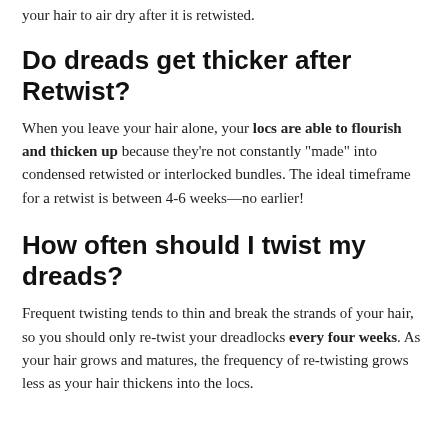your hair to air dry after it is retwisted.
Do dreads get thicker after Retwist?
When you leave your hair alone, your locs are able to flourish and thicken up because they're not constantly “made” into condensed retwisted or interlocked bundles. The ideal timeframe for a retwist is between 4-6 weeks—no earlier!
How often should I twist my dreads?
Frequent twisting tends to thin and break the strands of your hair, so you should only re-twist your dreadlocks every four weeks. As your hair grows and matures, the frequency of re-twisting grows less as your hair thickens into the locs.